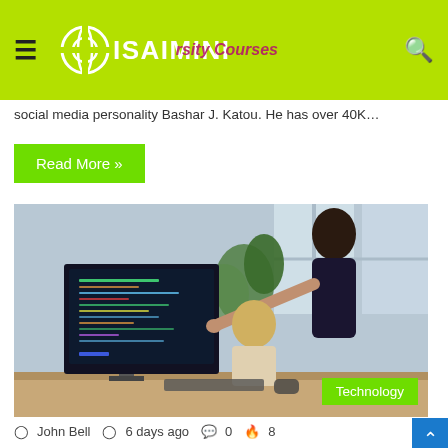ISAIMINI
social media personality Bashar J. Katou. He has over 40K…
Read More »
[Figure (photo): Two women working at a computer, one standing and pointing at code on a dark monitor screen, the other seated looking at it, in a modern office with plants and large windows.]
Technology
John Bell  6 days ago  0  8
Advantages and Disadvantages of Outsourcing Software Development